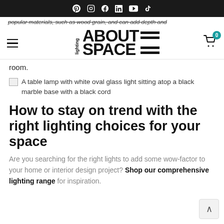Social media icons: Pinterest, Instagram, Facebook, LinkedIn, YouTube, TikTok
popular materials, such as wood grain, and can add depth and
[Figure (logo): About Space Lighting logo — vertical text 'lighting' beside large bold 'ABOUT SPACE' text with horizontal lines]
room.
[Figure (photo): A table lamp with white oval glass light sitting atop a black marble base with a black cord]
How to stay on trend with the right lighting choices for your space
Are you searching for the right lights to add some wow-factor to your home or interior design project? Shop our comprehensive lighting range for inspiration.